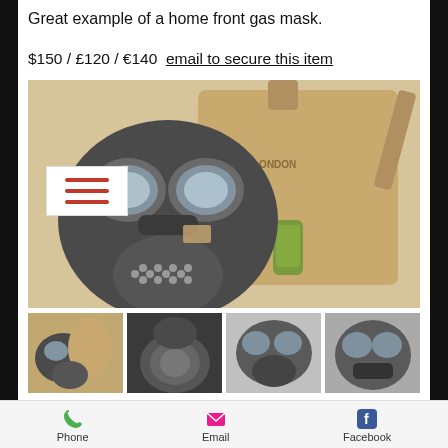Great example of a home front gas mask.
$150 / £120 / €140  email to secure this item
[Figure (photo): A WWII-era home front gas mask with round goggle lenses and circular filter canister, alongside a tan canvas carrying bag with strap and a small cylindrical component. Four thumbnail detail photos below.]
Lovely silk "Victory" handkerchief, depicting the flags of all the Allied nations that fought together and won
Phone   Email   Facebook